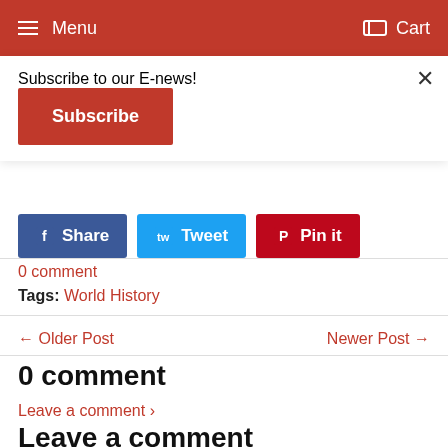Menu  Cart
Subscribe to our E-news!
Subscribe
[Figure (other): Social share buttons: Share (Facebook), Tweet (Twitter), Pin it (Pinterest)]
0 comment
Tags: World History
← Older Post    Newer Post →
0 comment
Leave a comment ›
Leave a comment